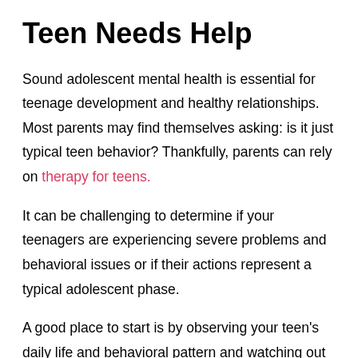Teen Needs Help
Sound adolescent mental health is essential for teenage development and healthy relationships. Most parents may find themselves asking: is it just typical teen behavior? Thankfully, parents can rely on therapy for teens.
It can be challenging to determine if your teenagers are experiencing severe problems and behavioral issues or if their actions represent a typical adolescent phase.
A good place to start is by observing your teen's daily life and behavioral pattern and watching out for these